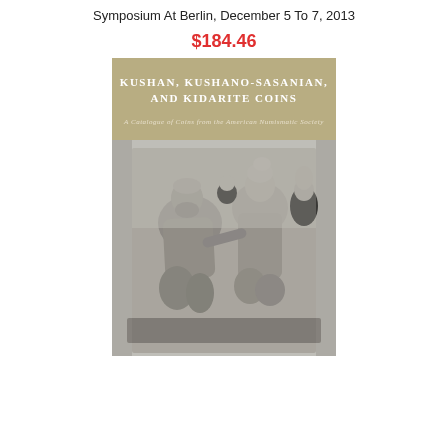Symposium At Berlin, December 5 To 7, 2013
$184.46
[Figure (photo): Book cover of 'Kushan, Kushano-Sasanian, and Kidarite Coins: A Catalogue of Coins from the American Numismatic Society'. The cover has a tan/khaki upper section with white text showing the title, and the lower portion shows a black-and-white photograph of an ancient stone relief sculpture depicting multiple figures.]